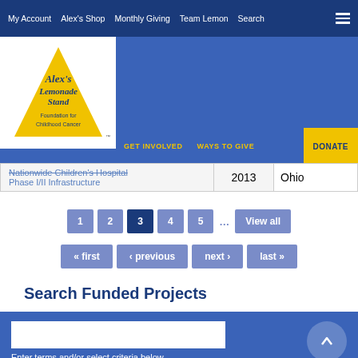My Account | Alex's Shop | Monthly Giving | Team Lemon | Search
[Figure (logo): Alex's Lemonade Stand Foundation for Childhood Cancer logo]
GET INVOLVED | WAYS TO GIVE | DONATE
|  | Year | State |
| --- | --- | --- |
| Nationwide Children's Hospital Phase I/II Infrastructure | 2013 | Ohio |
1
2
3
4
5
View all
« first
‹ previous
next ›
last »
Search Funded Projects
Enter terms and/or select criteria below
SUBMIT